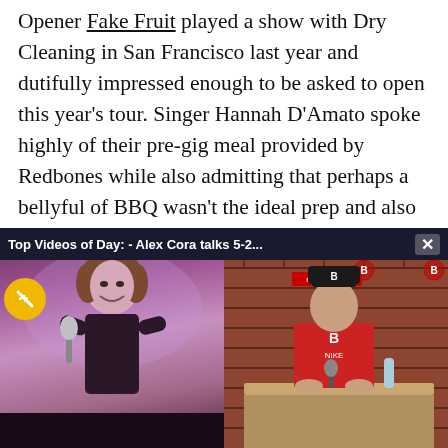Opener Fake Fruit played a show with Dry Cleaning in San Francisco last year and dutifully impressed enough to be asked to open this year's tour. Singer Hannah D'Amato spoke highly of their pre-gig meal provided by Redbones while also admitting that perhaps a bellyful of BBQ wasn't the ideal prep and also offering some leftovers to intrepid fans after the show. They also mined the mostly minimal parcel of the post-punk landscape and while they were a good match and an energetic band, they didn't land punches that really connected. Maybe Lithics tracks a bit closer for my ta... band at all either, as...
[Figure (photo): Left half: photo of a singer (woman with curly hair smiling, holding a microphone) on a purple-lit stage. Right half: video popup showing Alex Cora at a Red Sox press conference with redsox.com branding on brick wall background.]
Top Videos of Day: - Alex Cora talks 5-2...